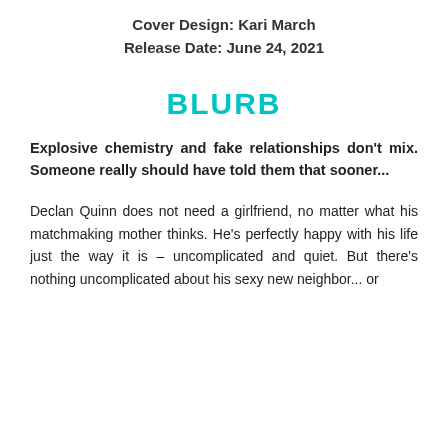Cover Design: Kari March
Release Date: June 24, 2021
BLURB
Explosive chemistry and fake relationships don't mix. Someone really should have told them that sooner...
Declan Quinn does not need a girlfriend, no matter what his matchmaking mother thinks. He's perfectly happy with his life just the way it is – uncomplicated and quiet. But there's nothing uncomplicated about his sexy new neighbor... or the one who doesn't fit her role...